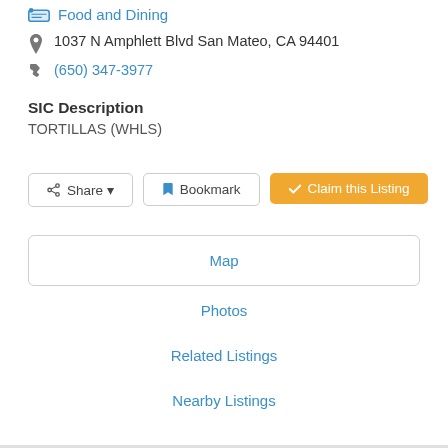Food and Dining
1037 N Amphlett Blvd San Mateo, CA 94401
(650) 347-3977
SIC Description
TORTILLAS (WHLS)
Share
Bookmark
Claim this Listing
Map
Photos
Related Listings
Nearby Listings